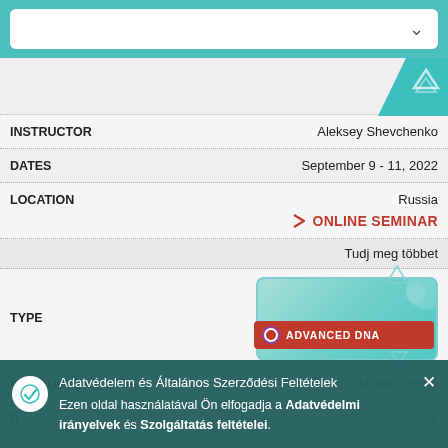[Figure (screenshot): Search/filter dropdown bar with teal background and white input box with chevron]
| Field | Value |
| --- | --- |
| INSTRUCTOR | Aleksey Shevchenko |
| DATES | September 9 - 11, 2022 |
| LOCATION | Russia / ONLINE SEMINAR |
|  | Tudj meg többet |
| TYPE | ADVANCED DNA badge |
| INSTRUCTOR | Noémi Tomek |
| D | 022 |
| L | ary / AR |
[Figure (other): Advanced DNA badge with teal/green decorative background, purple circle icon and red background label reading ADVANCED DNA]
Adatvédelem és Általános Szerződési Feltételek
Ezen oldal használatával Ön elfogadja a Adatvédelmi irányelvek és Szolgáltatás feltételei.